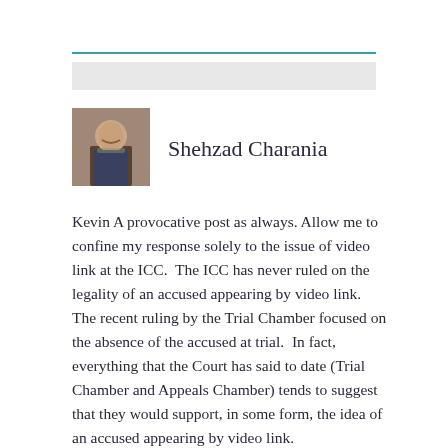[Figure (photo): Headshot photo of Shehzad Charania, a man with a beard wearing a suit]
Shehzad Charania
Kevin A provocative post as always. Allow me to confine my response solely to the issue of video link at the ICC. The ICC has never ruled on the legality of an accused appearing by video link. The recent ruling by the Trial Chamber focused on the absence of the accused at trial. In fact, everything that the Court has said to date (Trial Chamber and Appeals Chamber) tends to suggest that they would support, in some form, the idea of an accused appearing by video link.